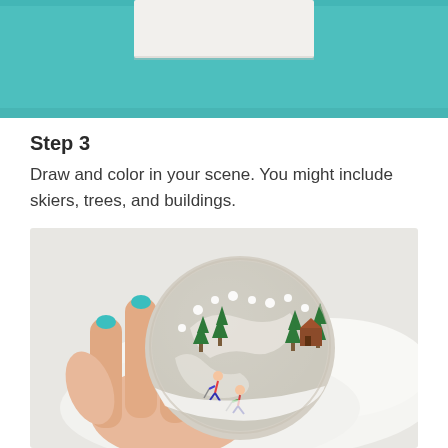[Figure (photo): Top portion of a craft photo showing a teal/turquoise background with a white foam or paper strip in the center, photographed from above.]
Step 3
Draw and color in your scene. You might include skiers, trees, and buildings.
[Figure (photo): A hand holding a round clay ornament decorated with a winter ski scene — painted trees, skiers, mountains, white snow dots, and a small cabin — against a white fluffy background.]